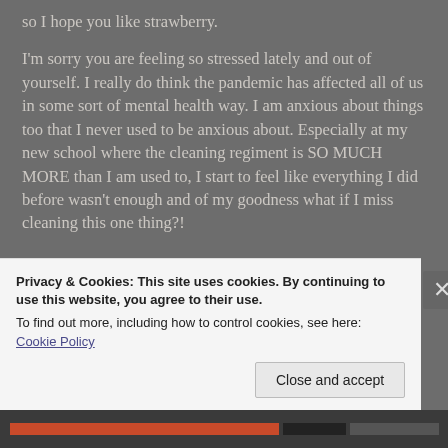so I hope you like strawberry.
I'm sorry you are feeling so stressed lately and out of yourself. I really do think the pandemic has affected all of us in some sort of mental health way. I am anxious about things too that I never used to be anxious about. Especially at my new school where the cleaning regiment is SO MUCH MORE than I am used to, I start to feel like everything I did before wasn't enough and of my goodness what if I miss cleaning this one thing?!
Privacy & Cookies: This site uses cookies. By continuing to use this website, you agree to their use.
To find out more, including how to control cookies, see here: Cookie Policy
Close and accept